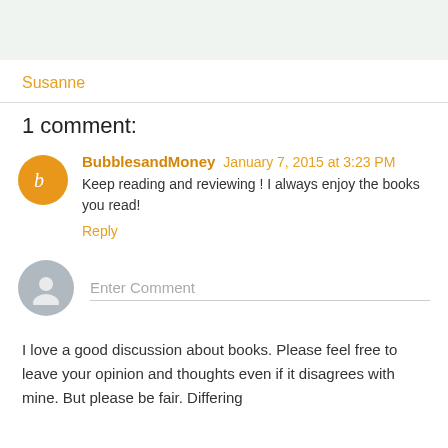Susanne
1 comment:
BubblesandMoney January 7, 2015 at 3:23 PM
Keep reading and reviewing ! I always enjoy the books you read!
Reply
[Figure (other): Enter Comment input field with gray avatar]
I love a good discussion about books. Please feel free to leave your opinion and thoughts even if it disagrees with mine. But please be fair. Differing